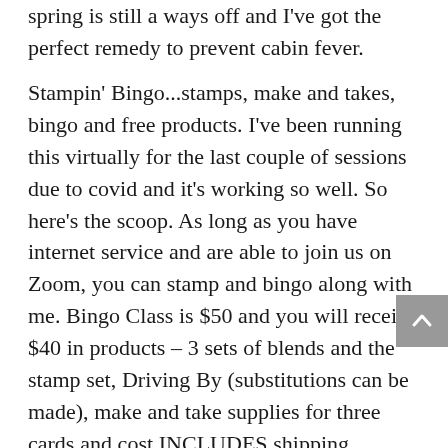spring is still a ways off and I've got the perfect remedy to prevent cabin fever.
Stampin' Bingo...stamps, make and takes, bingo and free products. I've been running this virtually for the last couple of sessions due to covid and it's working so well. So here's the scoop. As long as you have internet service and are able to join us on Zoom, you can stamp and bingo along with me. Bingo Class is $50 and you will receive $40 in products – 3 sets of blends and the stamp set, Driving By (substitutions can be made), make and take supplies for three cards and cost INCLUDES shipping directly to you. We will play 6 games of Bingo and prizes will be mailed after the event. It's a sure fire way to have boat loads of fun this winter! Regardless, registrations must